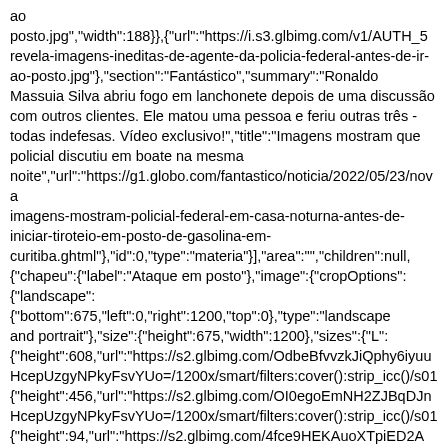ao posto.jpg","width":188}},{"url":"https://i.s3.glbimg.com/v1/AUTH_5 revela-imagens-ineditas-de-agente-da-policia-federal-antes-de-ir-ao-posto.jpg"},{"section":"Fantástico","summary":"Ronaldo Massuia Silva abriu fogo em lanchonete depois de uma discussão com outros clientes. Ele matou uma pessoa e feriu outras três - todas indefesas. Vídeo exclusivo!","title":"Imagens mostram que policial discutiu em boate na mesma noite","url":"https://g1.globo.com/fantastico/noticia/2022/05/23/novas imagens-mostram-policial-federal-em-casa-noturna-antes-de-iniciar-tiroteio-em-posto-de-gasolina-em-curitiba.ghtml"},{"id":0,"type":"materia"}],"area":"","children":null,{"chapeu":{"label":"Ataque em posto"},{"image":{"cropOptions":{"landscape":{"bottom":675,"left":0,"right":1200,"top":0},"type":"landscape and portrait"},{"size":{"height":675,"width":1200},{"sizes":{"L":{"height":608,"url":"https://s2.glbimg.com/OdbeBfvvzkJiQphy6iyuu HcepUzgyNPkyFsvYUo=/1200x/smart/filters:cover():strip_icc()/s01 {"height":456,"url":"https://s2.glbimg.com/OI0egoEmNH2ZJBqDJn HcepUzgyNPkyFsvYUo=/1200x/smart/filters:cover():strip_icc()/s01 {"height":94,"url":"https://s2.glbimg.com/4fce9HEKAuoXTpiED2A HcepUzgyNPkyFsvYUo=/1200x/smart/filters:cover():strip_icc()/s01 {"height":304,"url":"https://s2.glbimg.com/3avK20vo34Lq6-eTXtu4Q6HmL2c=/0x0:1200x675/540x304/smart/filters:max_age(3 HcepUzgyNPkyFsvYUo=/1200x/smart/filters:cover():strip_icc()/s01 {"height":629,"url":"https://s2.glbimg.com/i1KBCQou7MtqdKBW0